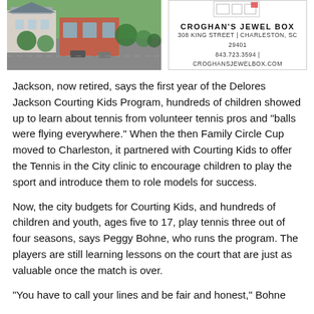[Figure (photo): Aerial/street view photograph of buildings and streets with trees]
[Figure (infographic): Croghan's Jewel Box advertisement with logo, address 308 King Street, Charleston, SC 29401, phone 843.723.3594, website CROGHANSJEWELBOX.COM]
Jackson, now retired, says the first year of the Delores Jackson Courting Kids Program, hundreds of children showed up to learn about tennis from volunteer tennis pros and "balls were flying everywhere." When the then Family Circle Cup moved to Charleston, it partnered with Courting Kids to offer the Tennis in the City clinic to encourage children to play the sport and introduce them to role models for success.
Now, the city budgets for Courting Kids, and hundreds of children and youth, ages five to 17, play tennis three out of four seasons, says Peggy Bohne, who runs the program. The players are still learning lessons on the court that are just as valuable once the match is over.
"You have to call your lines and be fair and honest," Bohne